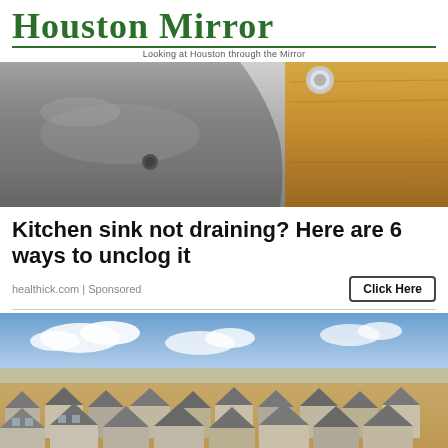Houston Mirror — Looking at Houston through the Mirror
[Figure (photo): Close-up photo of a stainless steel kitchen sink with a wooden countertop edge]
Kitchen sink not draining? Here are 6 ways to unclog it
healthick.com | Sponsored
[Figure (photo): Aerial view of a suburban residential neighborhood with rows of houses and open land in the background under a partly cloudy sky]